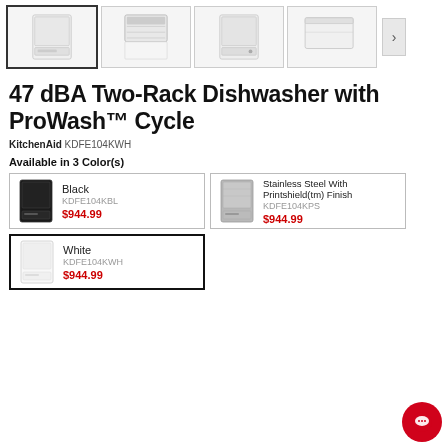[Figure (photo): Thumbnail strip showing 4 dishwasher product photos with a right arrow navigation button]
47 dBA Two-Rack Dishwasher with ProWash™ Cycle
KitchenAid KDFE104KWH
Available in 3 Color(s)
[Figure (photo): Black dishwasher thumbnail - Black, KDFE104KBL, $944.99]
[Figure (photo): Stainless Steel dishwasher thumbnail - Stainless Steel With Printshield(tm) Finish, KDFE104KPS, $944.99]
[Figure (photo): White dishwasher thumbnail - White, KDFE104KWH, $944.99 (selected)]